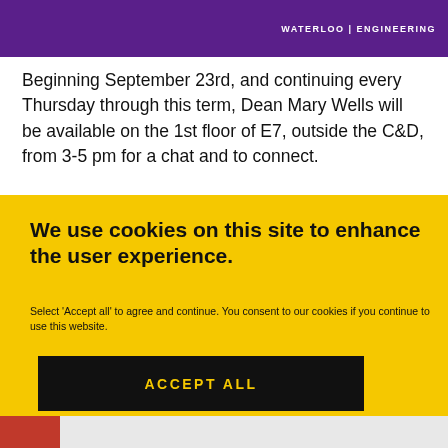WATERLOO | ENGINEERING
Beginning September 23rd, and continuing every Thursday through this term, Dean Mary Wells will be available on the 1st floor of E7, outside the C&D, from 3-5 pm for a chat and to connect.
We use cookies on this site to enhance the user experience.
Select 'Accept all' to agree and continue. You consent to our cookies if you continue to use this website.
ACCEPT ALL